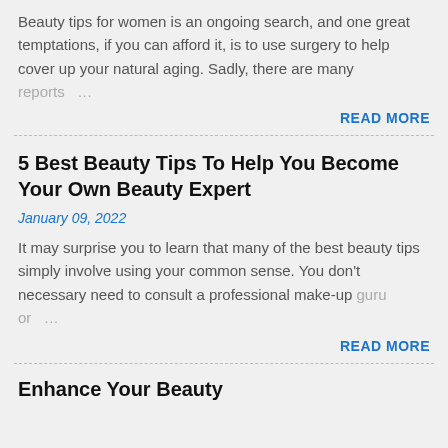Beauty tips for women is an ongoing search, and one great temptations, if you can afford it, is to use surgery to help cover up your natural aging. Sadly, there are many reports …
READ MORE
5 Best Beauty Tips To Help You Become Your Own Beauty Expert
January 09, 2022
It may surprise you to learn that many of the best beauty tips simply involve using your common sense. You don't necessary need to consult a professional make-up guru or …
READ MORE
Enhance Your Beauty